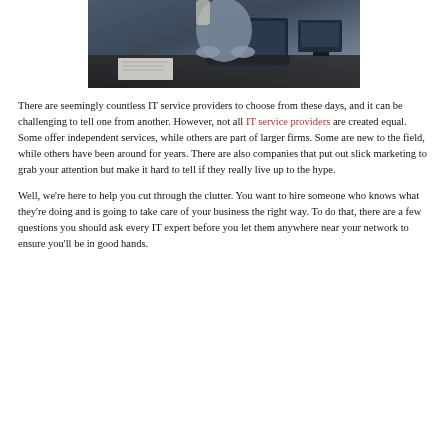[Figure (photo): Person sitting at a desk working on a laptop computer, viewed from above/behind, with papers and office items on the desk.]
There are seemingly countless IT service providers to choose from these days, and it can be challenging to tell one from another. However, not all IT service providers are created equal. Some offer independent services, while others are part of larger firms. Some are new to the field, while others have been around for years. There are also companies that put out slick marketing to grab your attention but make it hard to tell if they really live up to the hype.
Well, we’re here to help you cut through the clutter. You want to hire someone who knows what they’re doing and is going to take care of your business the right way. To do that, there are a few questions you should ask every IT expert before you let them anywhere near your network to ensure you’ll be in good hands.